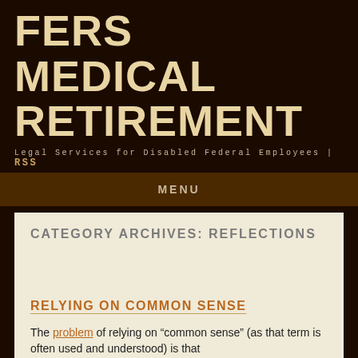FERS MEDICAL RETIREMENT
Legal Services for Disabled Federal Employees | RSS
MENU
CATEGORY ARCHIVES: REFLECTIONS
RELYING ON COMMON SENSE
The problem of relying on “common sense” (as that term is often used and understood) is that